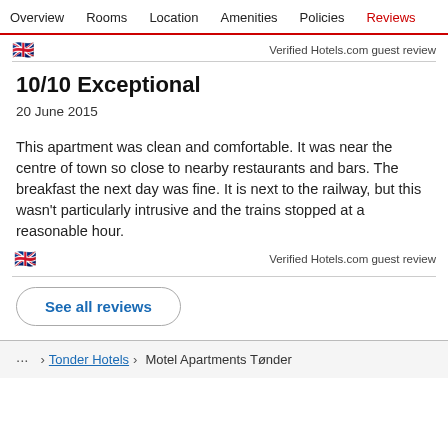Overview  Rooms  Location  Amenities  Policies  Reviews
Verified Hotels.com guest review
10/10 Exceptional
20 June 2015
This apartment was clean and comfortable. It was near the centre of town so close to nearby restaurants and bars. The breakfast the next day was fine. It is next to the railway, but this wasn't particularly intrusive and the trains stopped at a reasonable hour.
Verified Hotels.com guest review
See all reviews
... > Tonder Hotels > Motel Apartments Tønder